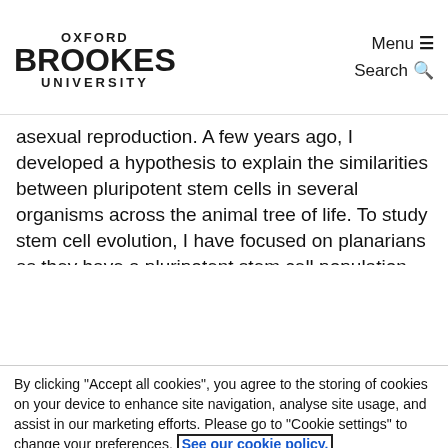OXFORD BROOKES UNIVERSITY | Menu ☰ | Search 🔍
asexual reproduction. A few years ago, I developed a hypothesis to explain the similarities between pluripotent stem cells in several organisms across the animal tree of life. To study stem cell evolution, I have focused on planarians as they have a pluripotent stem cell population that allows them to regenerate when cut into pieces.
By clicking "Accept all cookies", you agree to the storing of cookies on your device to enhance site navigation, analyse site usage, and assist in our marketing efforts. Please go to "Cookie settings" to change your preferences. See our cookie policy.
Accept all cookies
Cookie settings